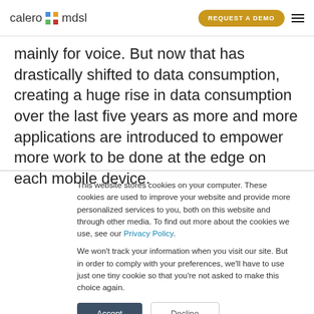calero mdsl | REQUEST A DEMO
mainly for voice. But now that has drastically shifted to data consumption, creating a huge rise in data consumption over the last five years as more and more applications are introduced to empower more work to be done at the edge on each mobile device.
This website stores cookies on your computer. These cookies are used to improve your website and provide more personalized services to you, both on this website and through other media. To find out more about the cookies we use, see our Privacy Policy.

We won't track your information when you visit our site. But in order to comply with your preferences, we'll have to use just one tiny cookie so that you're not asked to make this choice again.